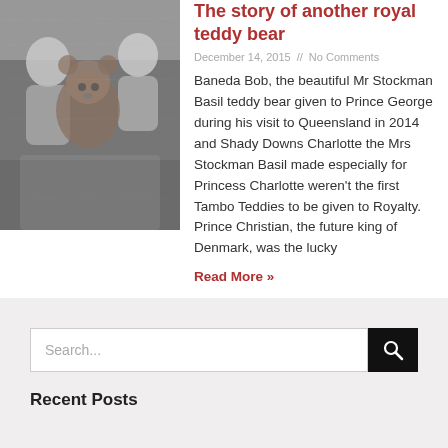[Figure (photo): Black and white photo of children with a large teddy bear]
The story of another royal teddy bear
December 14, 2015 // No Comments
Baneda Bob, the beautiful Mr Stockman Basil teddy bear given to Prince George during his visit to Queensland in 2014 and Shady Downs Charlotte the Mrs Stockman Basil made especially for Princess Charlotte weren't the first Tambo Teddies to be given to Royalty.   Prince Christian, the future king of Denmark, was the lucky
Read More »
Search...
Recent Posts